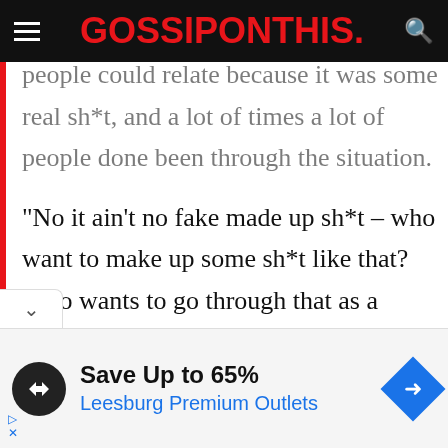GOSSIPONTHIS.
people could relate because it was some real sh*t, and a lot of times a lot of people done been through the situation.
“No it ain’t no fake made up sh*t – who want to make up some sh*t like that? Who wants to go through that as a person? You know what I’m saying? But it’s life, and it
[clipped text continues below]
[Figure (infographic): Advertisement banner: circular black icon with double-arrow logo, text 'Save Up to 65%' and 'Leesburg Premium Outlets' in blue, blue diamond navigation icon on right, small blue play/close arrows bottom left.]